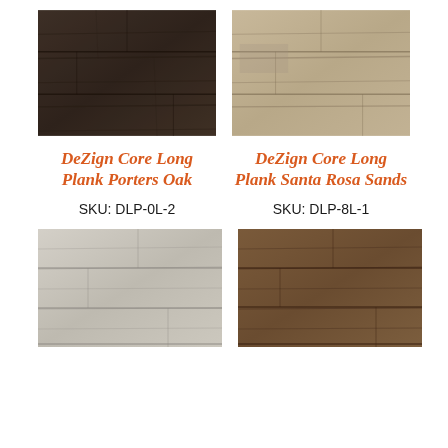[Figure (photo): Dark brown wood grain flooring texture - Dezign Core Long Plank Porters Oak]
[Figure (photo): Light tan/beige wood grain flooring texture - Dezign Core Long Plank Santa Rosa Sands]
Dezign Core Long Plank Porters Oak
SKU: DLP-0L-2
Dezign Core Long Plank Santa Rosa Sands
SKU: DLP-8L-1
[Figure (photo): Light grey wood grain flooring texture]
[Figure (photo): Medium brown wood grain flooring texture]